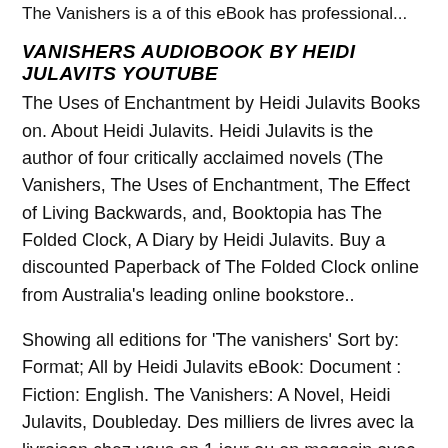The Vanishers is a of this eBook has professional...
VANISHERS AUDIOBOOK BY HEIDI JULAVITS YOUTUBE
The Uses of Enchantment by Heidi Julavits Books on. About Heidi Julavits. Heidi Julavits is the author of four critically acclaimed novels (The Vanishers, The Uses of Enchantment, The Effect of Living Backwards, and, Booktopia has The Folded Clock, A Diary by Heidi Julavits. Buy a discounted Paperback of The Folded Clock online from Australia's leading online bookstore..
Showing all editions for 'The vanishers' Sort by: Format; All by Heidi Julavits eBook: Document : Fiction: English. The Vanishers: A Novel, Heidi Julavits, Doubleday. Des milliers de livres avec la livraison chez vous en 1 jour ou en magasin avec